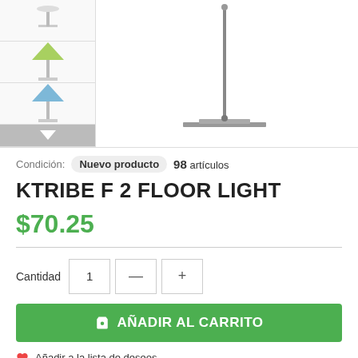[Figure (photo): Product images of Ktribe F2 Floor Light - thumbnail column with green and blue lamp variants, main large image showing the full floor lamp in chrome]
Condición: Nuevo producto 98 artículos
KTRIBE F 2 FLOOR LIGHT
$70.25
Cantidad 1 — +
AÑADIR AL CARRITO
Añadir a la lista de deseos